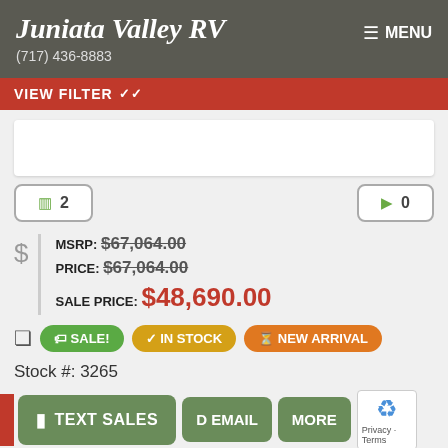Juniata Valley RV (717) 436-8883
VIEW FILTER
2  0
MSRP: $67,064.00
PRICE: $67,064.00
SALE PRICE: $48,690.00
SALE!  IN STOCK  NEW ARRIVAL
Stock #: 3265
TEXT SALES  D EMAIL  MORE